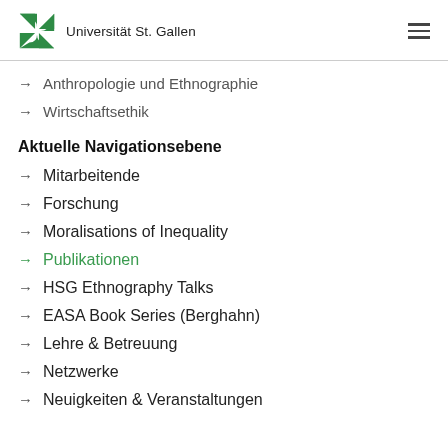[Figure (logo): Universität St. Gallen logo with green star/pinwheel icon and text]
→ Anthropologie und Ethnographie
→ Wirtschaftsethik
Aktuelle Navigationsebene
→ Mitarbeitende
→ Forschung
→ Moralisations of Inequality
→ Publikationen
→ HSG Ethnography Talks
→ EASA Book Series (Berghahn)
→ Lehre & Betreuung
→ Netzwerke
→ Neuigkeiten & Veranstaltungen